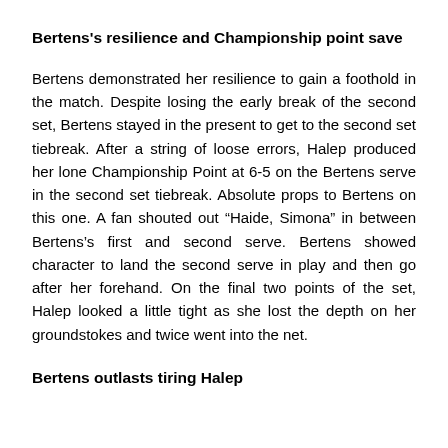Bertens's resilience and Championship point save
Bertens demonstrated her resilience to gain a foothold in the match. Despite losing the early break of the second set, Bertens stayed in the present to get to the second set tiebreak. After a string of loose errors, Halep produced her lone Championship Point at 6-5 on the Bertens serve in the second set tiebreak. Absolute props to Bertens on this one. A fan shouted out “Haide, Simona” in between Bertens’s first and second serve. Bertens showed character to land the second serve in play and then go after her forehand. On the final two points of the set, Halep looked a little tight as she lost the depth on her groundstokes and twice went into the net.
Bertens outlasts tiring Halep